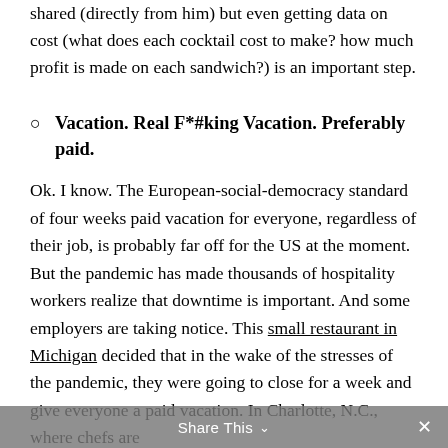shared (directly from him) but even getting data on cost (what does each cocktail cost to make? how much profit is made on each sandwich?) is an important step.
Vacation. Real F*#king Vacation. Preferably paid.
Ok. I know. The European-social-democracy standard of four weeks paid vacation for everyone, regardless of their job, is probably far off for the US at the moment. But the pandemic has made thousands of hospitality workers realize that downtime is important. And some employers are taking notice. This small restaurant in Michigan decided that in the wake of the stresses of the pandemic, they were going to close for a week and give everyone a paid vacation. In Charlotte, N.C., where chefs are
Share This ∨  ×